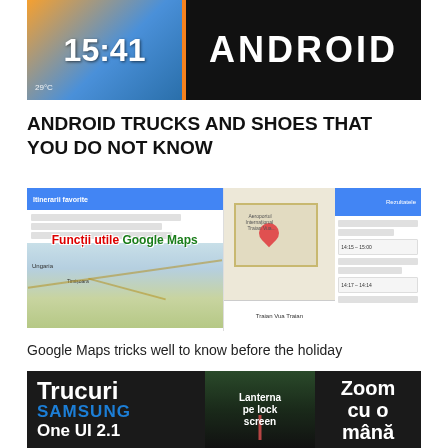[Figure (screenshot): Android phone header banner with clock showing 15:41 on left and ANDROID text on black background on right with orange vertical bar]
ANDROID TRUCKS AND SHOES THAT YOU DO NOT KNOW
[Figure (screenshot): Google Maps screenshot collage with text overlay 'Funcții utile Google Maps' in red/bold over map views]
Google Maps tricks well to know before the holiday
[Figure (screenshot): Samsung banner with 'Trucuri SAMSUNG One UI 2.1' on left, 'Lanterna pe lock screen' in middle, 'Zoom cu o mână' on right]